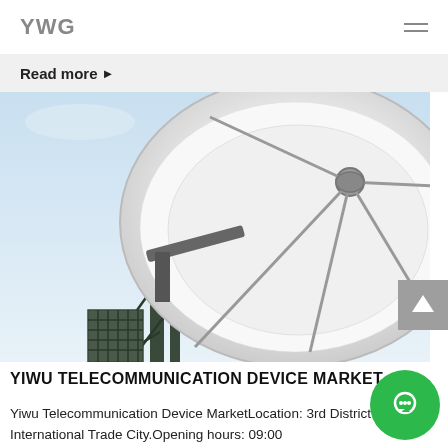YWG
Read more ▶
[Figure (photo): Large white satellite dish / parabolic antenna on a metal lattice tower against a light blue sky]
YIWU TELECOMMUNICATION DEVICE MARKET
Yiwu Telecommunication Device MarketLocation: 3rd District 2 of International Trade City.Opening hours: 09:00